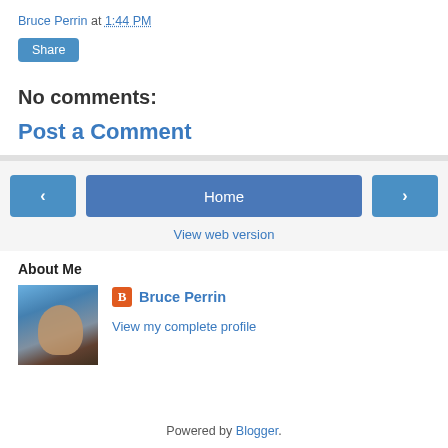Bruce Perrin at 1:44 PM
Share
No comments:
Post a Comment
< Home >
View web version
About Me
[Figure (photo): Profile photo of Bruce Perrin, a man wearing sunglasses outdoors with sky and water in background]
Bruce Perrin
View my complete profile
Powered by Blogger.